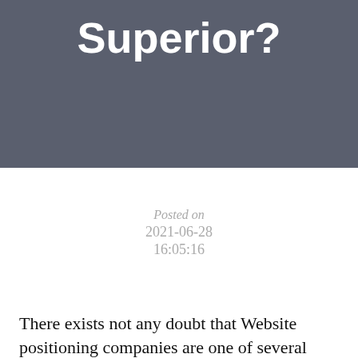Superior?
Posted on
2021-06-28
16:05:16
There exists not any doubt that Website positioning companies are one of several